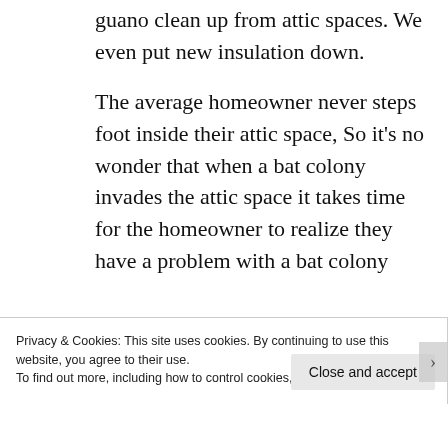guano clean up from attic spaces. We even put new insulation down.

The average homeowner never steps foot inside their attic space, So it’s no wonder that when a bat colony invades the attic space it takes time for the homeowner to realize they have a problem with a bat colony
Privacy & Cookies: This site uses cookies. By continuing to use this website, you agree to their use.
To find out more, including how to control cookies, see here: Cookie Policy
Close and accept